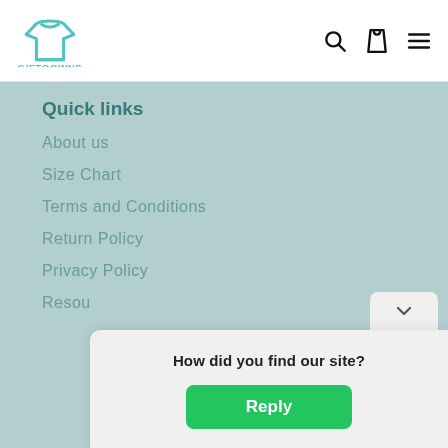GIFTGOWNS
Quick links
About us
Size Chart
Terms and Conditions
Return Policy
Privacy Policy
Resou
How did you find our site?
Reply